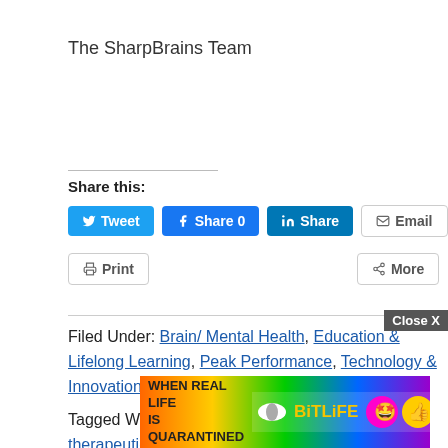The SharpBrains Team
Share this:
[Figure (screenshot): Social sharing buttons: Tweet (Twitter, blue), Share 0 (Facebook, blue), Share (LinkedIn, teal), Email (white/gray border)]
[Figure (screenshot): Print and More buttons]
Filed Under: Brain/ Mental Health, Education & Lifelong Learning, Peak Performance, Technology & Innovation
Tagged With: brain, Brain-health, cognitive, digital therapeutic, e-newsletter, FDA-cleared, hea... medi... neur...
[Figure (screenshot): Ad overlay: BitLife game ad with rainbow colors and 'WHEN REAL LIFE IS QUARANTINED' text. Close X button in top right.]